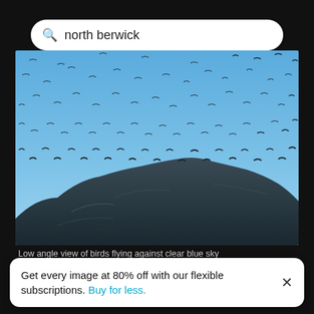[Figure (screenshot): Search bar with magnifying glass icon and text 'north berwick' on white rounded rectangle background]
[Figure (photo): Low angle view of birds flying against clear blue sky above a dark rocky cliff/island. Hundreds of seabirds (gannets) are scattered across the blue sky above Bass Rock near North Berwick.]
Low angle view of birds flying against clear blue sky
[Figure (photo): Partially visible second photo below, showing a grey/overcast sky or water scene]
Get every image at 80% off with our flexible subscriptions. Buy for less.